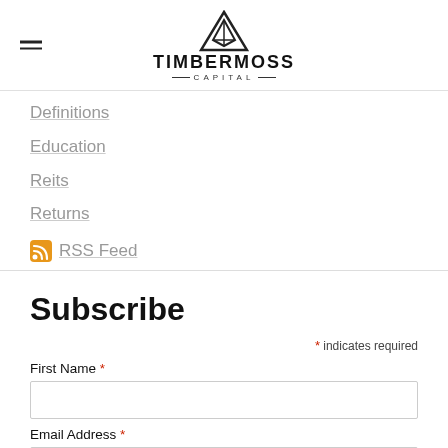TIMBERMOSS CAPITAL
Definitions
Education
Reits
Returns
RSS Feed
Subscribe
* indicates required
First Name *
Email Address *